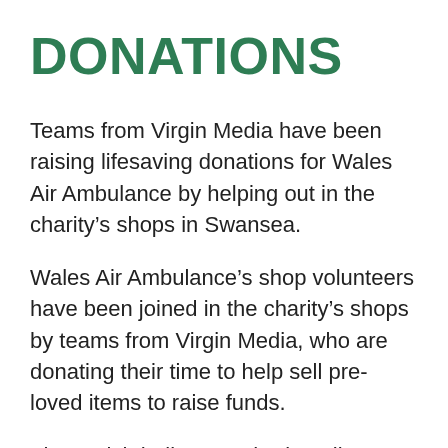DONATIONS
Teams from Virgin Media have been raising lifesaving donations for Wales Air Ambulance by helping out in the charity's shops in Swansea.
Wales Air Ambulance's shop volunteers have been joined in the charity's shops by teams from Virgin Media, who are donating their time to help sell pre-loved items to raise funds.
The Welsh helicopter charity relies on people donating their time and funds to